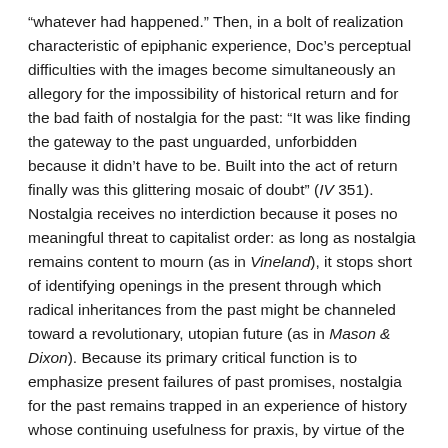“whatever had happened.” Then, in a bolt of realization characteristic of epiphanic experience, Doc’s perceptual difficulties with the images become simultaneously an allegory for the impossibility of historical return and for the bad faith of nostalgia for the past: “It was like finding the gateway to the past unguarded, unforbidden because it didn’t have to be. Built into the act of return finally was this glittering mosaic of doubt” (IV 351). Nostalgia receives no interdiction because it poses no meaningful threat to capitalist order: as long as nostalgia remains content to mourn (as in Vineland), it stops short of identifying openings in the present through which radical inheritances from the past might be channeled toward a revolutionary, utopian future (as in Mason & Dixon). Because its primary critical function is to emphasize present failures of past promises, nostalgia for the past remains trapped in an experience of history whose continuing usefulness for praxis, by virtue of the very pastness of the past and the irrevocability of history’s forward momentum, is dubious at best. As pleasing and poignant as nostalgic memories or reconstructions are,